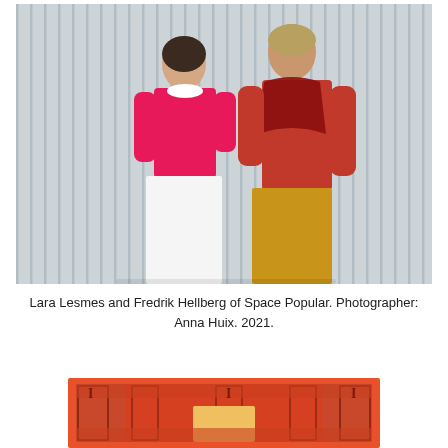[Figure (photo): Lara Lesmes and Fredrik Hellberg of Space Popular standing in front of a light grey vertically ribbed wall. Lara wears a bright pink sweater and white skirt; Fredrik wears a red shirt with a deep red fur scarf and mustard yellow pleated trousers.]
Lara Lesmes and Fredrik Hellberg of Space Popular. Photographer: Anna Huix. 2021.
[Figure (illustration): Partial view of an architectural floor plan or elevation diagram rendered in red and orange tones, showing a symmetrical building facade with decorative columns and archway elements.]